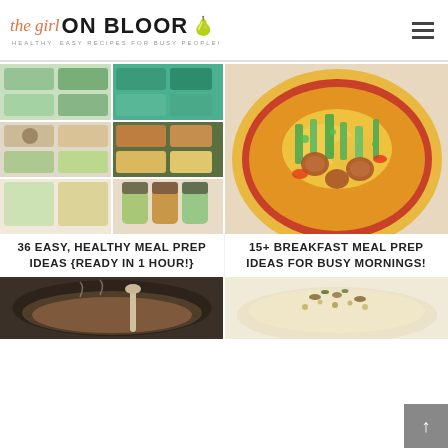the girl ON BLOOR | HEALTHY, EASY RECIPES FOR BUSY PEOPLE!
[Figure (photo): Collage of 6 meal prep containers with various healthy meals including grains, vegetables, proteins, and salad jars]
[Figure (photo): Close-up of breakfast meal prep pizza topped with scrambled eggs, green onions, sausage slices and peppers]
36 EASY, HEALTHY MEAL PREP IDEAS {READY IN 1 HOUR!}
15+ BREAKFAST MEAL PREP IDEAS FOR BUSY MORNINGS!
[Figure (photo): Slow cooker with food being stirred with a spoon]
[Figure (photo): Bowl of grain salad with nuts and seeds]